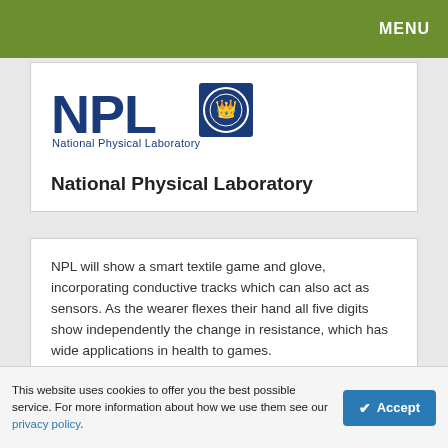MENU
[Figure (logo): NPL National Physical Laboratory logo — blue bold NPL text with a blue square emblem containing a circular seal]
National Physical Laboratory
NPL will show a smart textile game and glove, incorporating conductive tracks which can also act as sensors. As the wearer flexes their hand all five digits show independently the change in resistance, which has wide applications in health to games.
This website uses cookies to offer you the best possible service. For more information about how we use them see our privacy policy.